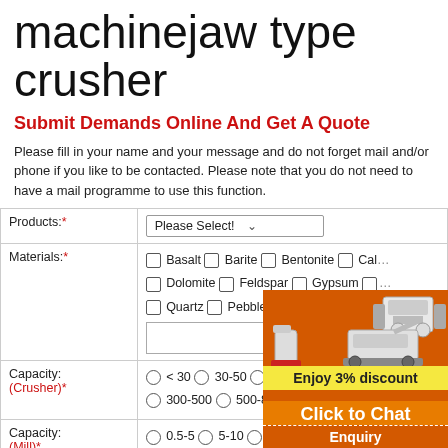machinejaw type crusher
Submit Demands Online And Get A Quote
Please fill in your name and your message and do not forget mail and/or phone if you like to be contacted. Please note that you do not need to have a mail programme to use this function.
| Label | Field |
| --- | --- |
| Products:* | Please Select! [dropdown] |
| Materials:* | ☐ Basalt ☐ Barite ☐ Bentonite ☐ Calc... ☐ Dolomite ☐ Feldspar ☐ Gypsum ☐... ☐ Quartz ☐ Pebble ☐ Slag ☐ Limesto... [text input] |
| Capacity:
(Crusher)* | ○ < 30 ○ 30-50 ○ 50-100 ○ 100-200... ○ 300-500 ○ 500-800 ( tons per hour) |
| Capacity:
(Mill)* | ○ 0.5-5 ○ 5-10 ○ 10-30 ○ 30-50 ○ 5... hour) |
[Figure (photo): Orange panel with images of jaw crusher, mobile crusher, and vertical mill machines. Includes 'Enjoy 3% discount' yellow bar, 'Click to Chat' orange bar, and 'Enquiry' footer bar.]